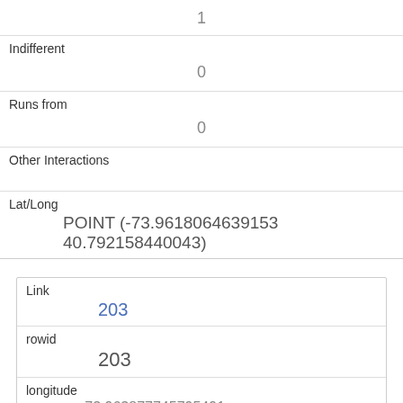|  | 1 |
| Indifferent | 0 |
| Runs from | 0 |
| Other Interactions |  |
| Lat/Long | POINT (-73.9618064639153 40.792158440043) |
| Link | 203 |
| rowid | 203 |
| longitude | -73.963877745795491 |
| latitude | 40.79135321291479 |
| Unique Squirrel ID | 31A-AM-1010-05 |